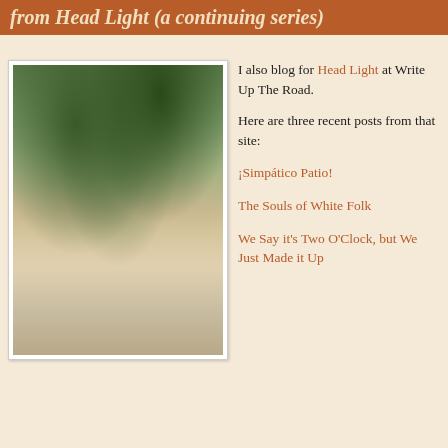from Head Light (a continuing series)
[Figure (photo): Outdoor patio with two white plastic chairs, a small white side table, potted plants, a wooden fence, and a green watering can on a stone patio surface.]
I also blog for Head Light at Write Up The Road.
Here are three recent posts from that site:
¡Simpático Patio!
The Souls of White Folk
We Say it's Two O'Clock, but We Just Made it Up